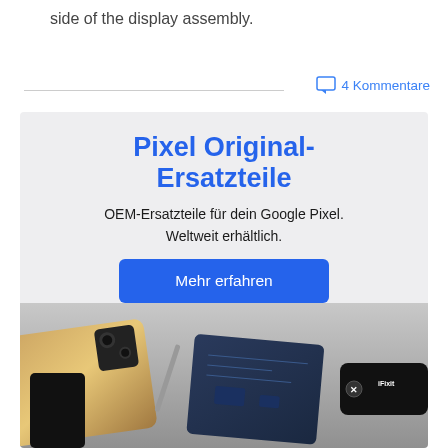side of the display assembly.
4 Kommentare
[Figure (infographic): Advertisement banner for Pixel Original-Ersatzteile (Pixel Original Spare Parts) by iFixit. Blue bold title text reads 'Pixel Original-Ersatzteile'. Subtitle: 'OEM-Ersatzteile für dein Google Pixel. Weltweit erhältlich.' A blue button reads 'Mehr erfahren'. Background shows disassembled Google Pixel phone parts and an iFixit tool.]